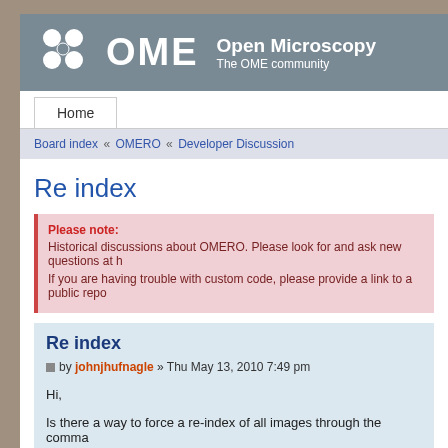[Figure (logo): OME Open Microscopy Environment logo with white circles and text on grey banner. Text reads 'OME' large, 'Open Microscopy' and 'The OME community']
Home
Board index « OMERO « Developer Discussion
Re index
Please note:
Historical discussions about OMERO. Please look for and ask new questions at h
If you are having trouble with custom code, please provide a link to a public repo
Re index
by johnjhufnagle » Thu May 13, 2010 7:49 pm
Hi,
Is there a way to force a re-index of all images through the comma